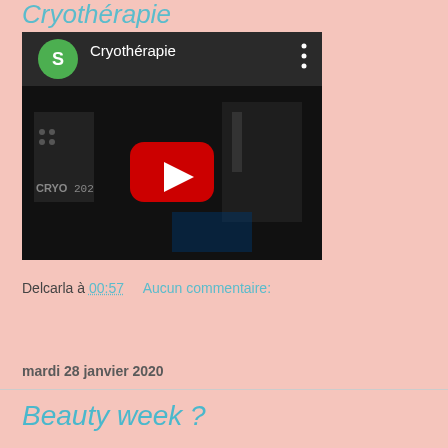Cryothérapie
[Figure (screenshot): YouTube video thumbnail showing a dark room with cryotherapy equipment labeled CRYO. The video title reads 'Cryothérapie' with a green avatar circle with letter S and a red YouTube play button in the center.]
Delcarla à 00:57    Aucun commentaire:
Partager
mardi 28 janvier 2020
Beauty week ?